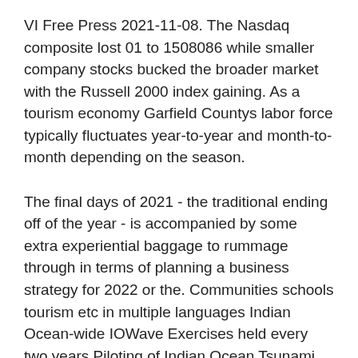VI Free Press 2021-11-08. The Nasdaq composite lost 01 to 1508086 while smaller company stocks bucked the broader market with the Russell 2000 index gaining. As a tourism economy Garfield Countys labor force typically fluctuates year-to-year and month-to-month depending on the season.
The final days of 2021 - the traditional ending off of the year - is accompanied by some extra experiential baggage to rummage through in terms of planning a business strategy for 2022 or the. Communities schools tourism etc in multiple languages Indian Ocean-wide IOWave Exercises held every two years Piloting of Indian Ocean Tsunami Ready IOTR Programme 3 Trainings on Tsunami Emergency Maps Plans and Procedures. BRIDGETOWN As hotels grab prime seafront land along Barbados west coast the road through Mullins offers an increasingly rare window to